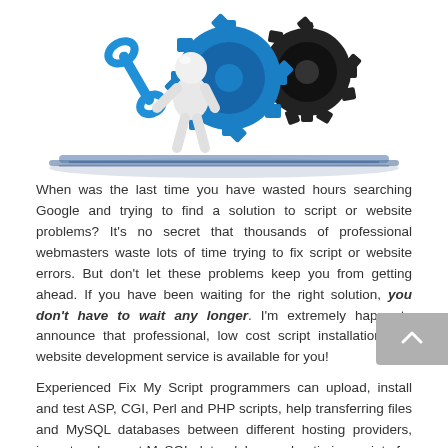[Figure (illustration): 3D illustration of a white humanoid robot/figure holding a blue wrench, surrounded by blue and black mechanical gears, riding on blue rails/tracks. The image is centered near the top of the page.]
When was the last time you have wasted hours searching Google and trying to find a solution to script or website problems? It's no secret that thousands of professional webmasters waste lots of time trying to fix script or website errors. But don't let these problems keep you from getting ahead. If you have been waiting for the right solution, you don't have to wait any longer. I'm extremely happy to announce that professional, low cost script installation and website development service is available for you!
Experienced Fix My Script programmers can upload, install and test ASP, CGI, Perl and PHP scripts, help transferring files and MySQL databases between different hosting providers, import and export MySQL data, debug and optimize scripts for best